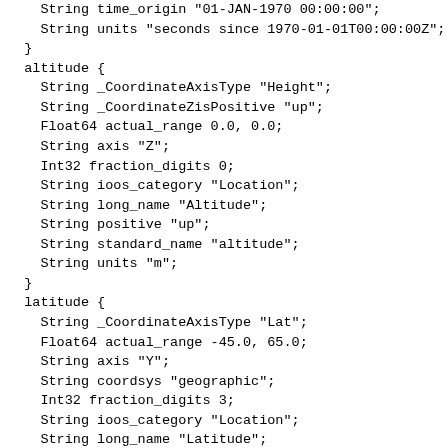String time_origin "01-JAN-1970 00:00:00";
    String units "seconds since 1970-01-01T00:00:00Z";
  }
  altitude {
    String _CoordinateAxisType "Height";
    String _CoordinateZisPositive "up";
    Float64 actual_range 0.0, 0.0;
    String axis "Z";
    Int32 fraction_digits 0;
    String ioos_category "Location";
    String long_name "Altitude";
    String positive "up";
    String standard_name "altitude";
    String units "m";
  }
  latitude {
    String _CoordinateAxisType "Lat";
    Float64 actual_range -45.0, 65.0;
    String axis "Y";
    String coordsys "geographic";
    Int32 fraction_digits 3;
    String ioos_category "Location";
    String long_name "Latitude";
    String point_spacing "even";
    String standard_name "latitude";
    String units "degrees north";